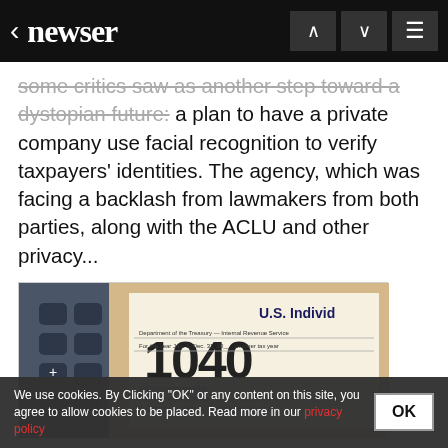newser
some critics saw as another step toward a dystopian future: a plan to have a private company use facial recognition to verify taxpayers' identities. The agency, which was facing a backlash from lawmakers from both parties, along with the ACLU and other privacy...
[Figure (photo): Photo of a 1040 U.S. Individual tax form next to a calculator]
IRS Outsources Online Security to Private Company
Jan 21, 2022  4:42 PM CST
IRS Outsources Online Security to Private Company
Video some will required for some
We use cookies. By Clicking "OK" or any content on this site, you agree to allow cookies to be placed. Read more in our privacy policy